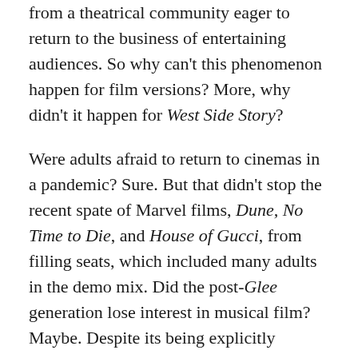from a theatrical community eager to return to the business of entertaining audiences. So why can't this phenomenon happen for film versions? More, why didn't it happen for West Side Story?
Were adults afraid to return to cinemas in a pandemic? Sure. But that didn't stop the recent spate of Marvel films, Dune, No Time to Die, and House of Gucci, from filling seats, which included many adults in the demo mix. Did the post-Glee generation lose interest in musical film? Maybe. Despite its being explicitly marketed to them, audiences avoided Dear Evan Hansen, but that didn't dissuade releasing studio Universal from greenlighting the international juggernaut Wicked for the screen.  Is it a dying or dead genre? Explain that to Bill Condon's sparkling take on Dreamgirls, or Tom Hooper's Les